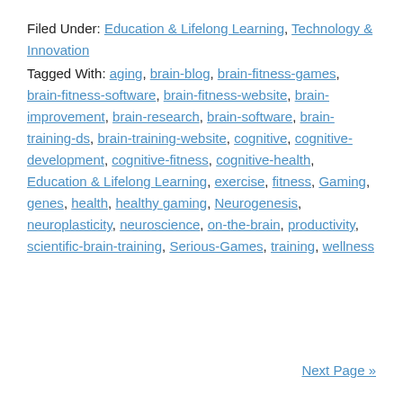Filed Under: Education & Lifelong Learning, Technology & Innovation
Tagged With: aging, brain-blog, brain-fitness-games, brain-fitness-software, brain-fitness-website, brain-improvement, brain-research, brain-software, brain-training-ds, brain-training-website, cognitive, cognitive-development, cognitive-fitness, cognitive-health, Education & Lifelong Learning, exercise, fitness, Gaming, genes, health, healthy gaming, Neurogenesis, neuroplasticity, neuroscience, on-the-brain, productivity, scientific-brain-training, Serious-Games, training, wellness
Next Page »